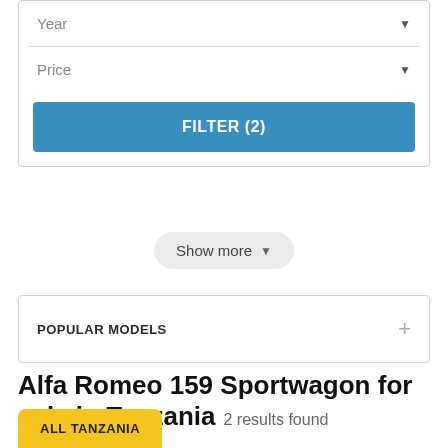Year
Price
FILTER (2)
Show more
POPULAR MODELS
Alfa Romeo 159 Sportwagon for sale in Tanzania  2 results found
ALL TANZANIA